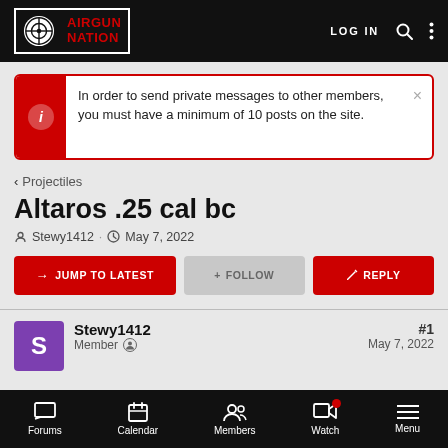AIRGUN NATION | LOG IN
In order to send private messages to other members, you must have a minimum of 10 posts on the site.
< Projectiles
Altaros .25 cal bc
Stewy1412 · May 7, 2022
→ JUMP TO LATEST   + FOLLOW   ✎ REPLY
Stewy1412
Member
#1
May 7, 2022
Forums  Calendar  Members  Watch  Menu